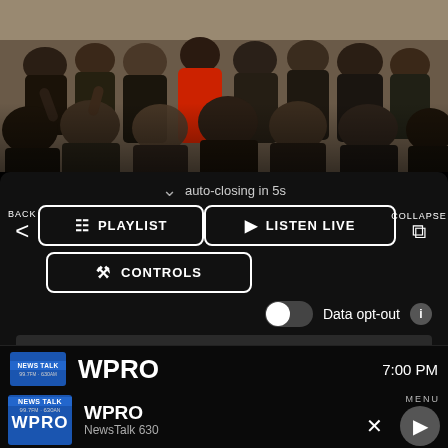[Figure (photo): A crowd of people seen from behind in what appears to be an indoor venue. A person in a red jacket stands out in the center of the crowd.]
auto-closing in 5s
BACK
PLAYLIST
LISTEN LIVE
COLLAPSE
CONTROLS
Data opt-out
WPRO
7:00 PM
MENU
WPRO
NewsTalk 630